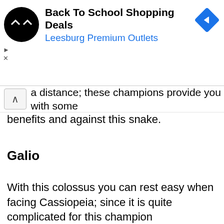[Figure (screenshot): Ad banner: Back To School Shopping Deals, Leesburg Premium Outlets, with logo and navigation icon]
distance; these champions provide you with some benefits and against this snake.
Galio
With this colossus you can rest easy when facing Cassiopeia; since it is quite complicated for this champion
We use cookies on our website to give you the most relevant experience by remembering your preferences and repeat visits. By clicking “Accept All”, you consent to the use of ALL the cookies. However, you may visit "Cookie Settings" to provide a controlled consent.